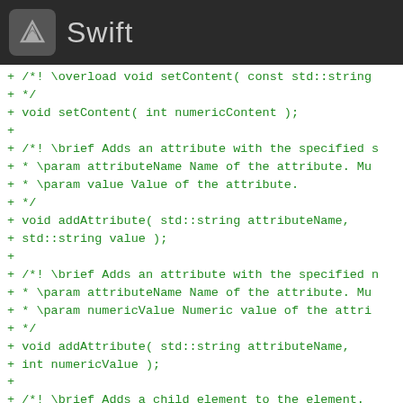Swift
+  /*! \overload void setContent( const std::string
+   */
+  void setContent( int numericContent );
+
+  /*! \brief Adds an attribute with the specified s
+   * \param attributeName Name of the attribute. Mu
+   * \param value Value of the attribute.
+   */
+  void addAttribute( std::string attributeName,
+                     std::string value );
+
+  /*! \brief Adds an attribute with the specified n
+   * \param attributeName Name of the attribute. Mu
+   * \param numericValue Numeric value of the attri
+   */
+  void addAttribute( std::string attributeName,
+                     int numericValue );
+
+  /*! \brief Adds a child element to the element.
+   * \param element Child element to add. Must not